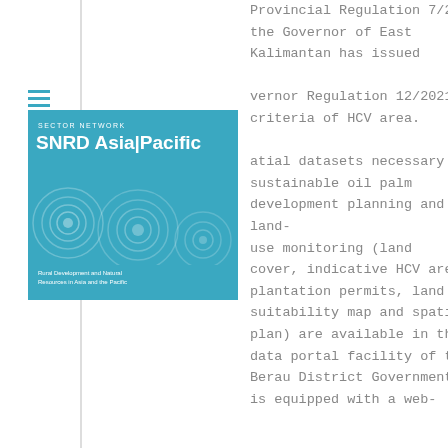[Figure (logo): SNRD Asia/Pacific Sector Network logo — teal/blue square with concentric circle pattern, white text reading SECTOR NETWORK, SNRD Asia|Pacific, Rural Development and Natural Resources in Asia and the Pacific]
Provincial Regulation 7/2018, the Governor of East Kalimantan has issued Governor Regulation 12/2021 criteria of HCV area. atial datasets necessary sustainable oil palm development planning and land-use monitoring (land cover, indicative HCV areas, plantation permits, land suitability map and spatial plan) are available in the data portal facility of the Berau District Government. It is equipped with a web-